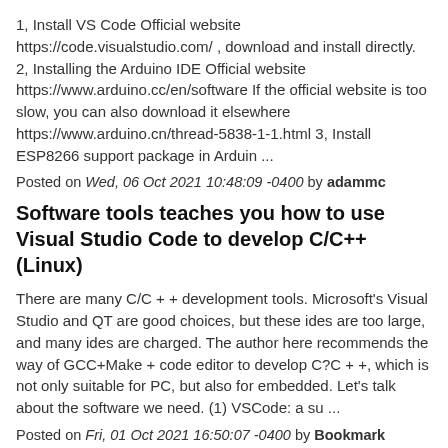1, Install VS Code Official website https://code.visualstudio.com/ , download and install directly. 2, Installing the Arduino IDE Official website https://www.arduino.cc/en/software If the official website is too slow, you can also download it elsewhere https://www.arduino.cn/thread-5838-1-1.html 3, Install ESP8266 support package in Arduin ...
Posted on Wed, 06 Oct 2021 10:48:09 -0400 by adammc
Software tools teaches you how to use Visual Studio Code to develop C/C++(Linux)
There are many C/C + + development tools. Microsoft's Visual Studio and QT are good choices, but these ides are too large, and many ides are charged. The author here recommends the way of GCC+Make + code editor to develop C?C + +, which is not only suitable for PC, but also for embedded. Let's talk about the software we need. (1) VSCode: a su ...
Posted on Fri, 01 Oct 2021 16:50:07 -0400 by Bookmark
linux vscode c + + debugging